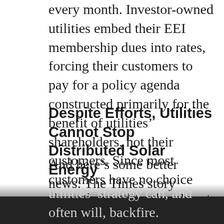every month. Investor-owned utilities embed their EEI membership dues into rates, forcing their customers to pay for a policy agenda constructed primarily for the benefit of utilities' shareholders, not their customers. Since most customers have no choice about their utility, there's not much they can do about it.
Despite Efforts, Utilities Cannot Stop Distributed Solar Energy
And here's some better news: The Times story focused on Indiana, where utilities scored a victory when they lobbied to pass a law that would unravel net metering, the policy that dictates how much a utility must pay solar owners for the excess electricity they sell back to the grid. But another state reveals how the utilities' strategy can, and often will, backfire.